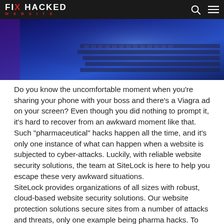FIX HACKED WEBSITE
[Figure (photo): Photo of a keyboard on a blue-tinted surface, partially visible, suggesting a hacking/cybersecurity theme]
Do you know the uncomfortable moment when you’re sharing your phone with your boss and there’s a Viagra ad on your screen? Even though you did nothing to prompt it, it’s hard to recover from an awkward moment like that. Such “pharmaceutical” hacks happen all the time, and it’s only one instance of what can happen when a website is subjected to cyber-attacks. Luckily, with reliable website security solutions, the team at SiteLock is here to help you escape these very awkward situations.
SiteLock provides organizations of all sizes with robust, cloud-based website security solutions. Our website protection solutions secure sites from a number of attacks and threats, only one example being pharma hacks. To learn more about who we are, what we do and how some of our products work, check out our video.